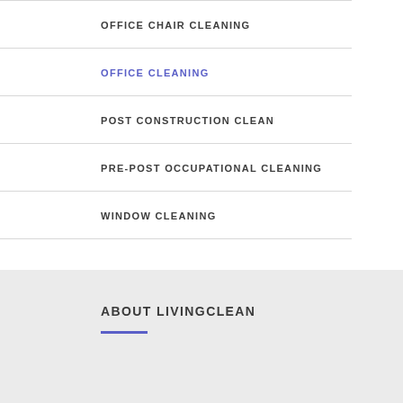OFFICE CHAIR CLEANING
OFFICE CLEANING
POST CONSTRUCTION CLEAN
PRE-POST OCCUPATIONAL CLEANING
WINDOW CLEANING
ABOUT LIVINGCLEAN